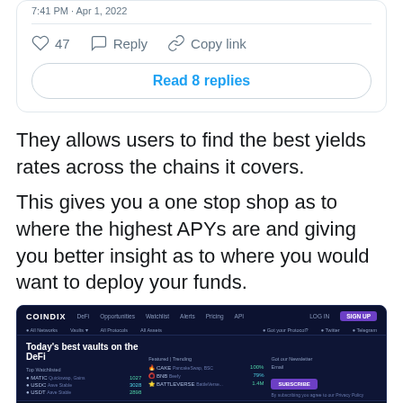[Figure (screenshot): Twitter/social media post bottom portion showing like count 47, Reply, Copy link actions and a Read 8 replies button]
They allows users to find the best yields rates across the chains it covers.
This gives you a one stop shop as to where the highest APYs are and giving you better insight as to where you would want to deploy your funds.
[Figure (screenshot): Screenshot of COINBIX/COINDIX DeFi platform showing 'Today's best vaults on the DeFi' with various tokens like MATIC, USDC, USDT, CAKE, BNB listed with yield rates, and blockchain filter tabs including Ethereum, BNB Chain, Solana, Polygon, Tron, Avax, Fantom, Arbitrum, DefiChain, Celo, Cronos, Fuse, Linea]